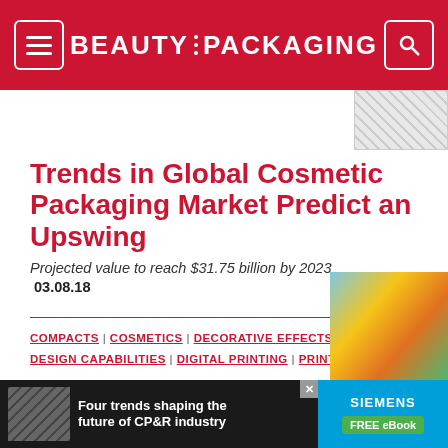BEAUTY PACKAGING
Trends in Global Cosmetic Packaging Market Predict an Upswing
Projected value to reach $31.75 billion by 2023
03.08.18
COMPACTS | COSMETICS | DECORATIVE EFFECTS | DESIGN CAPABILITIES | DIGITAL PRINTING | PRINTING
[Figure (photo): Colorful product boxes photo thumbnail]
[Figure (photo): Advertisement banner: Four trends shaping the future of CP&R industry — Siemens FREE eBook]